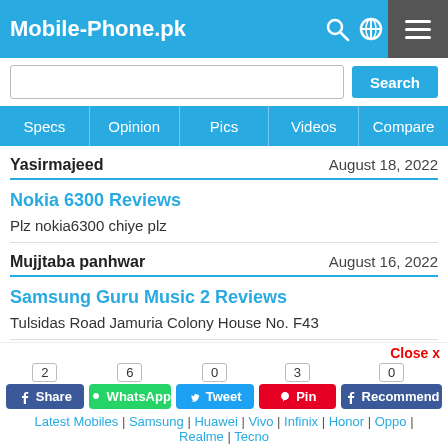Mobile-Phone.pk
Search
Specs | Opinion | Pics | Videos | Compare
Yasirmajeed    August 18, 2022
Nokia 6300 Reviews
Plz nokia6300 chiye plz
Mujjtaba panhwar    August 16, 2022
Samsung Guru Music 2 Reviews
Tulsidas Road Jamuria Colony House No. F43
Zubair qureshi    August 15, 2022
2 Share  6 WhatsApp  0 Tweet  3 Pin  0 Recommend  Latest Mobiles | Samsung | Huawei | Vivo | Infinix | Honor | Oppo | Realme | Tecno